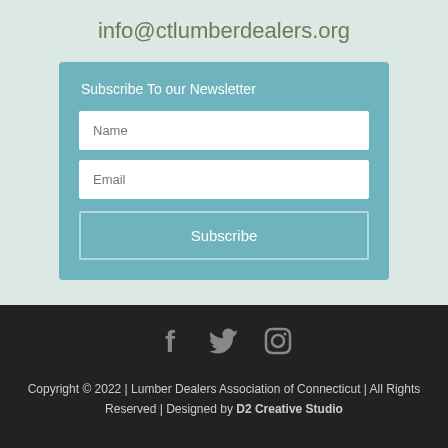info@ctlumberdealers.org
Subscribe To our Newsletter
[Figure (other): Newsletter subscription form with Name and Email input fields and a Subscribe button]
[Figure (infographic): Social media icons: Facebook, Twitter, Instagram]
Copyright © 2022 | Lumber Dealers Association of Connecticut | All Rights Reserved | Designed by D2 Creative Studio